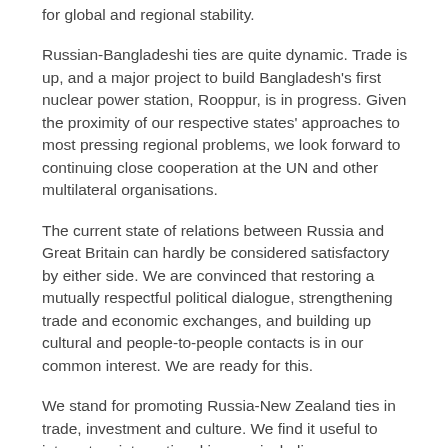for global and regional stability.
Russian-Bangladeshi ties are quite dynamic. Trade is up, and a major project to build Bangladesh's first nuclear power station, Rooppur, is in progress. Given the proximity of our respective states' approaches to most pressing regional problems, we look forward to continuing close cooperation at the UN and other multilateral organisations.
The current state of relations between Russia and Great Britain can hardly be considered satisfactory by either side. We are convinced that restoring a mutually respectful political dialogue, strengthening trade and economic exchanges, and building up cultural and people-to-people contacts is in our common interest. We are ready for this.
We stand for promoting Russia-New Zealand ties in trade, investment and culture. We find it useful to interact on international issues, including counterterrorism, climate change and research in the Antarctic.
We are open to cooperation with Canada based on mutual respect for and consideration of each other's interests. Canada and Russia are neighbours in the Arctic and share common